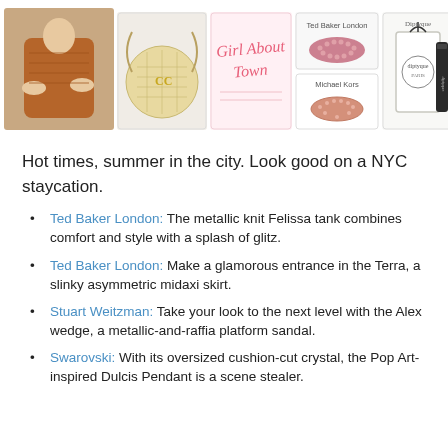[Figure (photo): Strip of product images: a woman in a rust/brown knit top, a round quilted Chanel bag, a script-font book/card reading 'Girl About Town', a Ted Baker London product, a Michael Kors branded product, a Diptyque branded product in a white pouch]
Hot times, summer in the city. Look good on a NYC staycation.
Ted Baker London: The metallic knit Felissa tank combines comfort and style with a splash of glitz.
Ted Baker London: Make a glamorous entrance in the Terra, a slinky asymmetric midaxi skirt.
Stuart Weitzman: Take your look to the next level with the Alex wedge, a metallic-and-raffia platform sandal.
Swarovski: With its oversized cushion-cut crystal, the Pop Art-inspired Dulcis Pendant is a scene stealer.